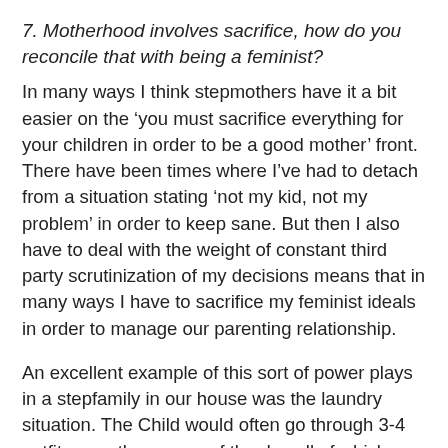7. Motherhood involves sacrifice, how do you reconcile that with being a feminist?
In many ways I think stepmothers have it a bit easier on the 'you must sacrifice everything for your children in order to be a good mother' front.  There have been times where I've had to detach from a situation stating 'not my kid, not my problem' in order to keep sane. But then I also have to deal with the weight of constant third party scrutinization of my decisions means that in many ways I have to sacrifice my feminist ideals in order to manage our parenting relationship.
An excellent example of this sort of power plays in a stepfamily in our house was the laundry situation. The Child would often go through 3-4 outfits over the course of the day all of which ended up dumped on the floor by the end of the day. Guess whose responsible for laundry in